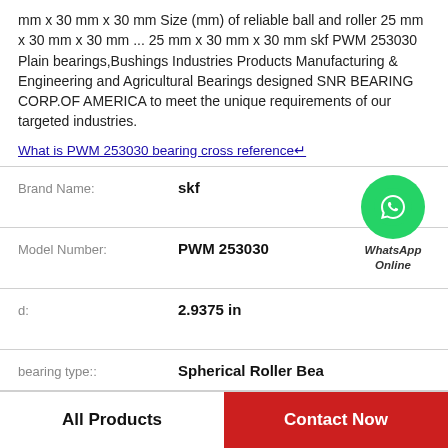mm x 30 mm x 30 mm Size (mm) of reliable ball and roller 25 mm x 30 mm x 30 mm ... 25 mm x 30 mm x 30 mm skf PWM 253030 Plain bearings,Bushings Industries Products Manufacturing & Engineering and Agricultural Bearings designed SNR BEARING CORP.OF AMERICA to meet the unique requirements of our targeted industries.
What is PWM 253030 bearing cross reference↵
| Property | Value |
| --- | --- |
| Brand Name: | skf |
| Model Number: | PWM 253030 |
| d: | 2.9375 in |
| bearing type:: | Spherical Roller Bea |
| Size (mm): | 25 mm x 30 mm x 30 mm |
[Figure (logo): WhatsApp Online green circle phone icon with text WhatsApp Online]
All Products
Contact Now